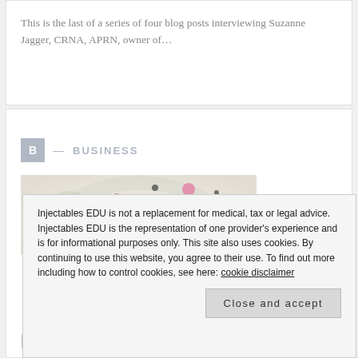This is the last of a series of four blog posts interviewing Suzanne Jagger, CRNA, APRN, owner of...
B — BUSINESS
[Figure (photo): Microscopy image showing colorful cellular structures with pink, purple, green and dark spots on a light background]
How to prepare for
Injectables EDU is not a replacement for medical, tax or legal advice. Injectables EDU is the representation of one provider's experience and is for informational purposes only. This site also uses cookies. By continuing to use this website, you agree to their use. To find out more including how to control cookies, see here: cookie disclaimer